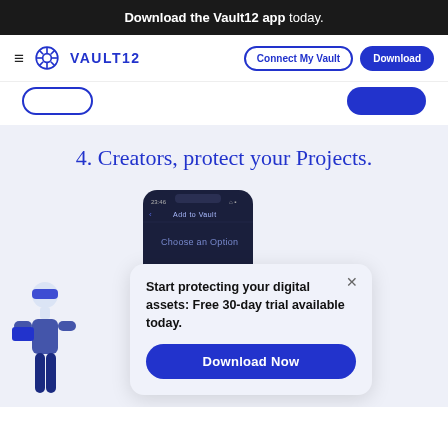Download the Vault12 app today.
[Figure (screenshot): Vault12 navigation bar with hamburger menu, Vault12 logo, Connect My Vault outline button, and Download solid blue button]
Connect My Vault   Download
4. Creators, protect your Projects.
[Figure (screenshot): Mobile phone screen showing Vault12 app with 'Add to Vault' header and 'Choose an Option' text on dark background]
[Figure (illustration): Illustrated person wearing VR headset holding a device, in blue tones]
Start protecting your digital assets: Free 30-day trial available today.
Download Now